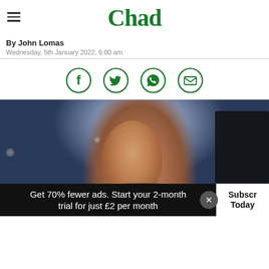Chad
By John Lomas
Wednesday, 5th January 2022, 6:00 am
[Figure (illustration): Four green circular social share icons: Facebook, Twitter, WhatsApp, Email]
[Figure (photo): Close-up photo of a middle-aged man with short brown hair, wearing a dark jacket, standing on what appears to be a football pitch at night with camera equipment visible in the background]
Get 70% fewer ads. Start your 2-month trial for just £2 per month
Subscribe Today